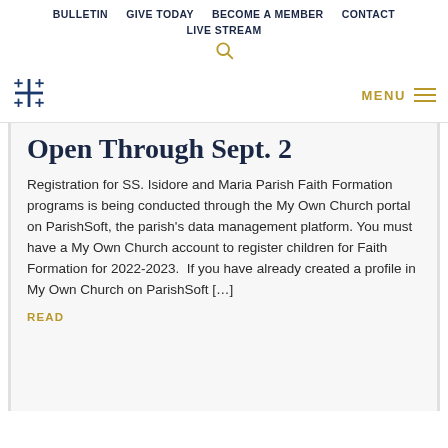BULLETIN   GIVE TODAY   BECOME A MEMBER   CONTACT   LIVE STREAM
[Figure (logo): Jerusalem cross logo in navy blue]
MENU
Open Through Sept. 2
Registration for SS. Isidore and Maria Parish Faith Formation programs is being conducted through the My Own Church portal on ParishSoft, the parish’s data management platform. You must have a My Own Church account to register children for Faith Formation for 2022-2023.  If you have already created a profile in My Own Church on ParishSoft […]
READ